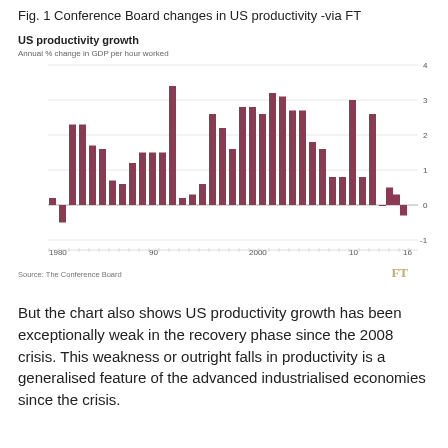Fig. 1 Conference Board changes in US productivity -via FT
[Figure (bar-chart): US productivity growth]
Source: The Conference Board
But the chart also shows US productivity growth has been exceptionally weak in the recovery phase since the 2008 crisis. This weakness or outright falls in productivity is a generalised feature of the advanced industrialised economies since the crisis.